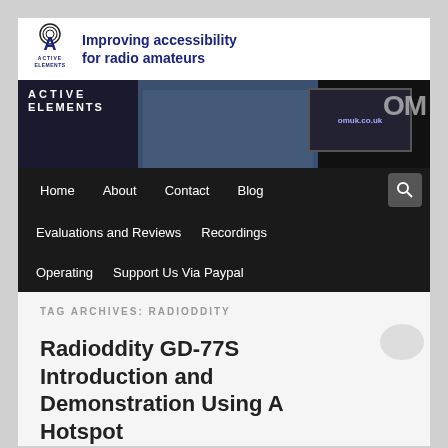[Figure (logo): Active Elements logo with radio tower icon and text 'Improving accessibility for radio amateurs']
[Figure (photo): Banner photo showing radio equipment, people at an event, and computer screens with radio software. Text overlay shows 'ACTIVE ELEMENTS' and 'omuk.co.uk']
Home   About   Contact   Blog   Evaluations and Reviews   Recordings   Operating   Support Us Via Paypal
TAG ARCHIVES: RADIODDITY
Radioddity GD-77S Introduction and Demonstration Using A Hotspot